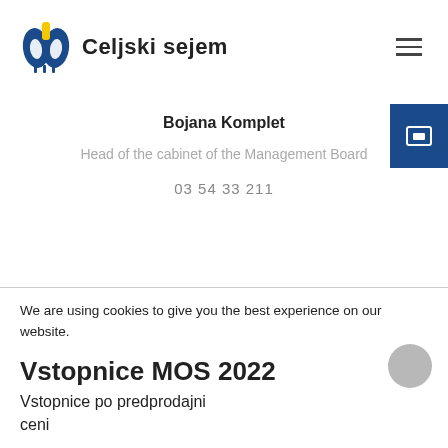Celjski sejem
Bojana Komplet
Head of the cabinet of the Management Board
03 54 33 211
We are using cookies to give you the best experience on our website.
You can find out more about which cookies we are using or switch
Vstopnice MOS 2022
Vstopnice po predprodajni ceni